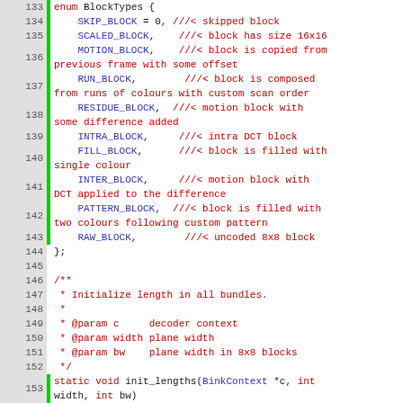Code listing lines 133-158: C source code defining BlockTypes enum and init_lengths function